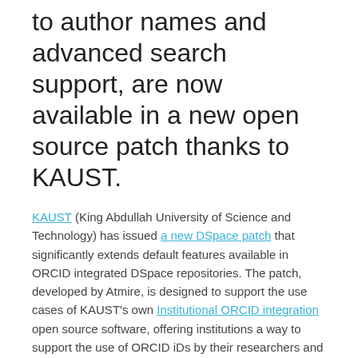to author names and advanced search support, are now available in a new open source patch thanks to KAUST.
KAUST (King Abdullah University of Science and Technology) has issued a new DSpace patch that significantly extends default features available in ORCID integrated DSpace repositories. The patch, developed by Atmire, is designed to support the use cases of KAUST's own Institutional ORCID integration open source software, offering institutions a way to support the use of ORCID iDs by their researchers and students.
Feature overview
The DSpace expanded-ORCID-support patch offers an